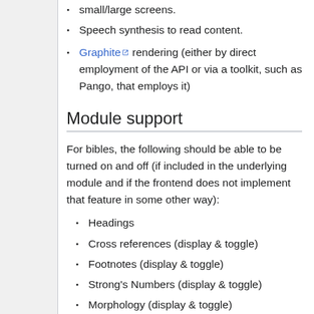small/large screens.
Speech synthesis to read content.
Graphite rendering (either by direct employment of the API or via a toolkit, such as Pango, that employs it)
Module support
For bibles, the following should be able to be turned on and off (if included in the underlying module and if the frontend does not implement that feature in some other way):
Headings
Cross references (display & toggle)
Footnotes (display & toggle)
Strong's Numbers (display & toggle)
Morphology (display & toggle)
Toggling and/or simultaneous display of text and...